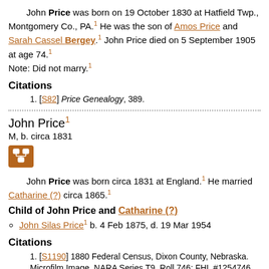John Price was born on 19 October 1830 at Hatfield Twp., Montgomery Co., PA.¹ He was the son of Amos Price and Sarah Cassel Bergey.¹ John Price died on 5 September 1905 at age 74.¹ Note: Did not marry.¹
Citations
1. [S82] Price Genealogy, 389.
John Price¹ M, b. circa 1831
[Figure (other): Family tree icon button (brown square with family tree symbol)]
John Price was born circa 1831 at England.¹ He married Catharine (?) circa 1865.¹
Child of John Price and Catharine (?)
John Silas Price¹ b. 4 Feb 1875, d. 19 Mar 1954
Citations
1. [S1190] 1880 Federal Census, Dixon County, Nebraska. Microfilm Image, NARA Series T9, Roll 746; FHL #1254746.